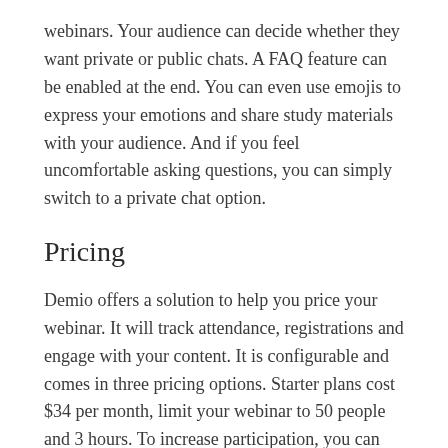webinars. Your audience can decide whether they want private or public chats. A FAQ feature can be enabled at the end. You can even use emojis to express your emotions and share study materials with your audience. And if you feel uncomfortable asking questions, you can simply switch to a private chat option.
Pricing
Demio offers a solution to help you price your webinar. It will track attendance, registrations and engage with your content. It is configurable and comes in three pricing options. Starter plans cost $34 per month, limit your webinar to 50 people and 3 hours. To increase participation, you can add a speaker or chat room. There are some limitations to the Starter Plan, so make